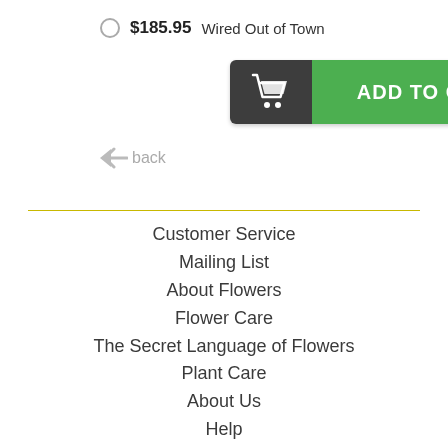$185.95  Wired Out of Town
[Figure (other): Add to Cart button with shopping cart icon on dark grey left section and green right section reading ADD TO CART]
back
Customer Service
Mailing List
About Flowers
Flower Care
The Secret Language of Flowers
Plant Care
About Us
Help
Home